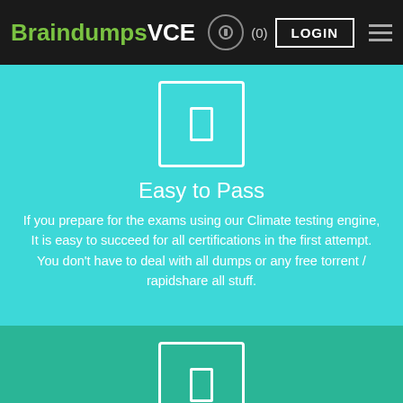BraindumpsVCE (0) LOGIN
[Figure (illustration): White rounded rectangle icon representing a document or card]
Easy to Pass
If you prepare for the exams using our Climate testing engine, It is easy to succeed for all certifications in the first attempt. You don't have to deal with all dumps or any free torrent / rapidshare all stuff.
[Figure (illustration): White rounded rectangle icon representing a document or card]
Try Before Buy
Climate offers free demo of each product. You can check out the interface, question quality and usability of our practice exams before you decide to buy.